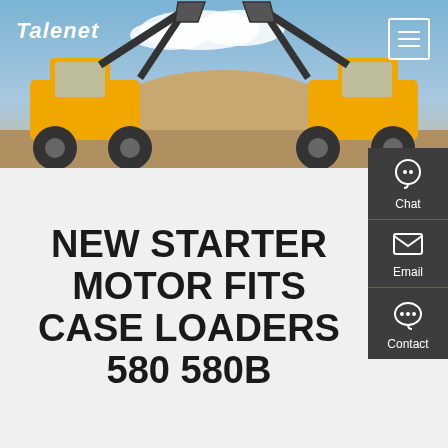[Figure (photo): Header banner showing two large yellow wheel loaders/front-end loaders facing each other with raised buckets against a blue sky background. Talenet logo text and hamburger menu icon overlay the image.]
NEW STARTER MOTOR FITS CASE LOADERS 580 580B